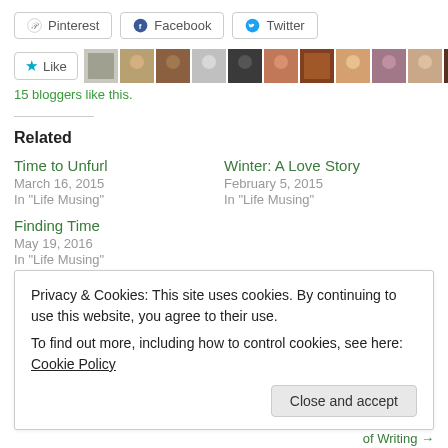[Figure (screenshot): Social share buttons for Pinterest, Facebook, and Twitter]
[Figure (screenshot): Like button with star icon and row of 11 blogger avatar photos]
15 bloggers like this.
Related
Time to Unfurl
March 16, 2015
In "Life Musing"
Winter: A Love Story
February 5, 2015
In "Life Musing"
Finding Time
May 19, 2016
In "Life Musing"
Privacy & Cookies: This site uses cookies. By continuing to use this website, you agree to their use.
To find out more, including how to control cookies, see here: Cookie Policy
of Writing →